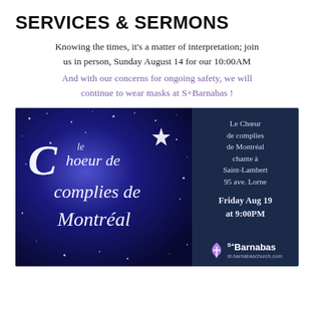SERVICES & SERMONS
Knowing the times, it's a matter of interpretation; join us in person, Sunday August 14 for our 10:00AM
And with our concerns for ongoing safety, we will continue to wear masks at S+Barnabas !
[Figure (illustration): Event flyer for Le Choeur de complies de Montréal. Left half: dark blue sparkly background with white cursive script reading 'le Choeur de complies de Montréal' and a star. Right half: dark navy background with text 'Le Choeur de complies de Montréal chante à Saint-Lambert 95 ave. Lorne Friday Aug 19 at 9:00PM' and St. Barnabas church logo at bottom.]